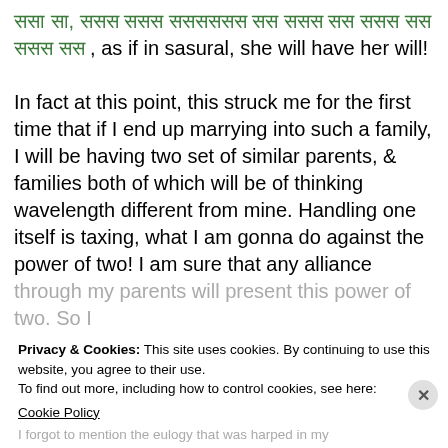[Hindi text] , as if in sasural, she will have her will!
In fact at this point, this struck me for the first time that if I end up marrying into such a family, I will be having two set of similar parents, & families both of which will be of thinking wavelength different from mine. Handling one itself is taxing, what I am gonna do against the power of two! I am sure that any alliance through my parents will present this power of two. So I gotta find someone before I get overpowered by the power of two.
Privacy & Cookies: This site uses cookies. By continuing to use this website, you agree to their use.
To find out more, including how to control cookies, see here:
Cookie Policy
Close and accept
Advertisements